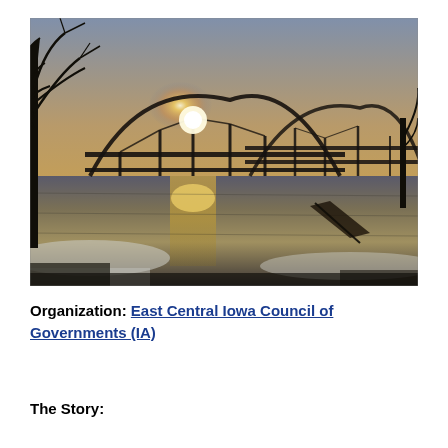[Figure (photo): A winter sunset photograph showing an old iron arch bridge silhouetted against a glowing sky, with its reflection visible in a partially frozen river below, surrounded by bare trees and snow on the banks.]
Organization:  East Central Iowa Council of Governments (IA)
The Story: